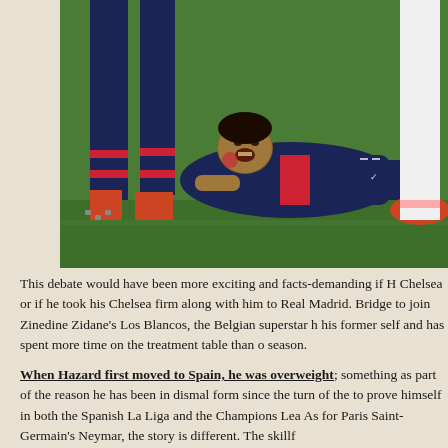[Figure (photo): A soccer player in a dark navy PSG kit lying on the ground in apparent pain, mouth open, with other players' legs visible around him on a green grass pitch.]
This debate would have been more exciting and facts-demanding if H... Chelsea or if he took his Chelsea firm along with him to Real Madrid. Bridge to join Zinedine Zidane's Los Blancos, the Belgian superstar h... his former self and has spent more time on the treatment table than o... season.
When Hazard first moved to Spain, he was overweight; something... as part of the reason he has been in dismal form since the turn of the... to prove himself in both the Spanish La Liga and the Champions Lea... As for Paris Saint-Germain's Neymar, the story is different. The skillf...